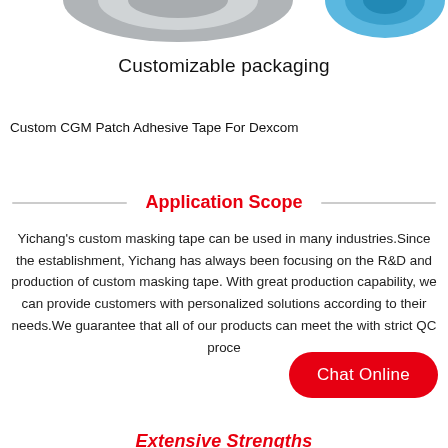[Figure (photo): Partial view of two tape rolls — a gray/silver roll on the left and a blue roll on the right, cropped at the top of the page.]
Customizable packaging
Custom CGM Patch Adhesive Tape For Dexcom
Application Scope
Yichang's custom masking tape can be used in many industries.Since the establishment, Yichang has always been focusing on the R&D and production of custom masking tape. With great production capability, we can provide customers with personalized solutions according to their needs.We guarantee that all of our products can meet the with strict QC proce...
[Figure (other): Chat Online button — red rounded rectangle with white text 'Chat Online']
Extensive Strengths (partially visible at bottom)